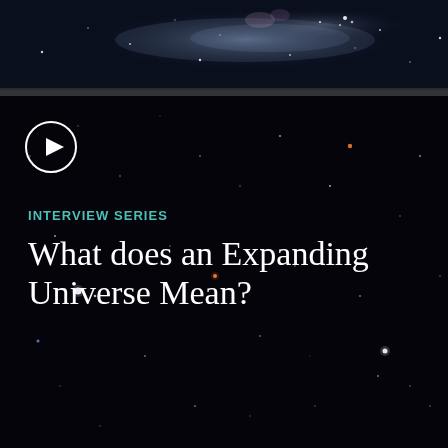[Figure (photo): Hubble deep space / galaxy image showing stars and nebula against dark space background — top strip]
[Figure (photo): Deep space star field image with scattered stars and galaxies on black background, featuring a play button overlay, 'INTERVIEW SERIES' label in teal, and title text]
INTERVIEW SERIES
What does an Expanding Universe Mean?